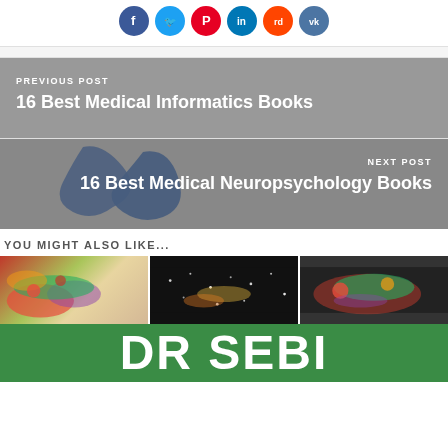[Figure (other): Social media sharing icons: Facebook, Twitter, Pinterest, LinkedIn, Reddit, VK]
PREVIOUS POST
16 Best Medical Informatics Books
NEXT POST
16 Best Medical Neuropsychology Books
YOU MIGHT ALSO LIKE...
[Figure (photo): Food/salad thumbnail images and a green banner reading DR SEBI]